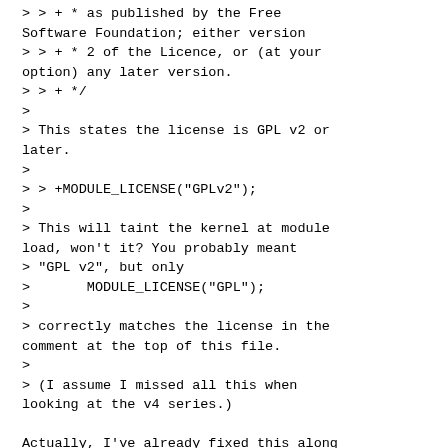> > + * as published by the Free Software Foundation; either version
> > + * 2 of the Licence, or (at your option) any later version.
> > + */
>
> This states the license is GPL v2 or later.
>
> > > +MODULE_LICENSE("GPLv2");
>
> This will taint the kernel at module load, won't it? You probably meant
> "GPL v2", but only
>       MODULE_LICENSE("GPL");
>
> correctly matches the license in the comment at the top of this file.
>
> (I assume I missed all this when looking at the v4 series.)

Actually, I've already fixed this along with another typo I found
after resubmitting.  Always the way sadly.

--
Lee Jones
Linaro STMicroelectronics Landing Team